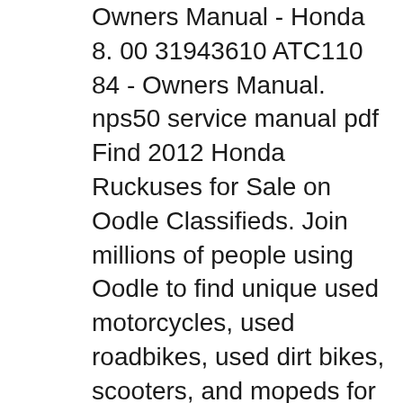Owners Manual - Honda 8. 00 31943610 ATC110 84 - Owners Manual. nps50 service manual pdf Find 2012 Honda Ruckuses for Sale on Oodle Classifieds. Join millions of people using Oodle to find unique used motorcycles, used roadbikes, used dirt bikes, scooters, and mopeds for sale. Don't miss what's happening in your neighborhood.
HP 1920-48G - switch - 48 - JG927A The HP 1920 Switch Series, part of the HP OfficeConnect portfolio, is designed for smaller organizations dealing with bandwidth-demanding applications. The switches are ideal for environments that require advanced features for granular control and where smart-managed